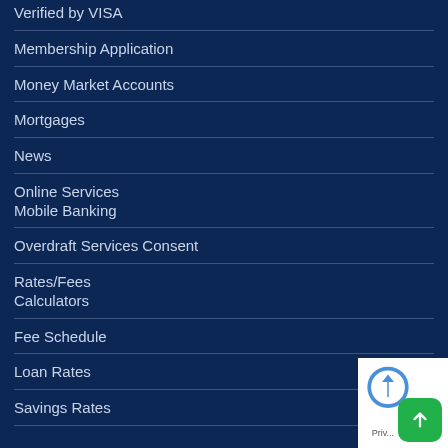Verified by VISA
Membership Application
Money Market Accounts
Mortgages
News
Online Services
Mobile Banking
Overdraft Services Consent
Rates/Fees
Calculators
Fee Schedule
Loan Rates
Savings Rates